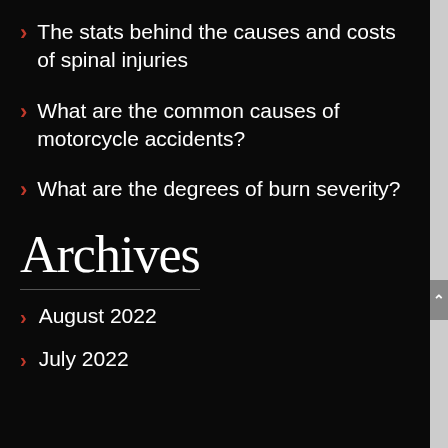The stats behind the causes and costs of spinal injuries
What are the common causes of motorcycle accidents?
What are the degrees of burn severity?
Archives
August 2022
July 2022